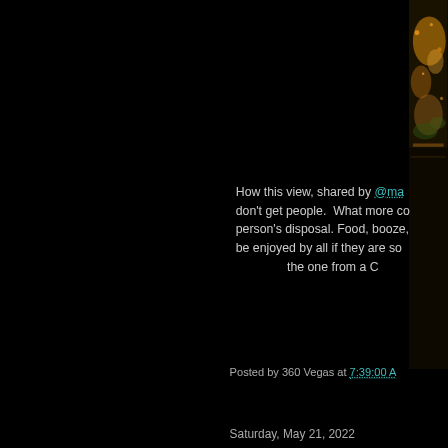[Figure (photo): Partial photo visible at top-right corner, appears to show an illuminated restaurant or bar scene with warm amber/orange tones]
How this view, shared by @ma... don't get people.  What more co... person's disposal. Food, booze,... be enjoyed by all if they are so... the one from a C...
Posted by 360 Vegas at 7:39:00 A...
Saturday, May 21, 2022